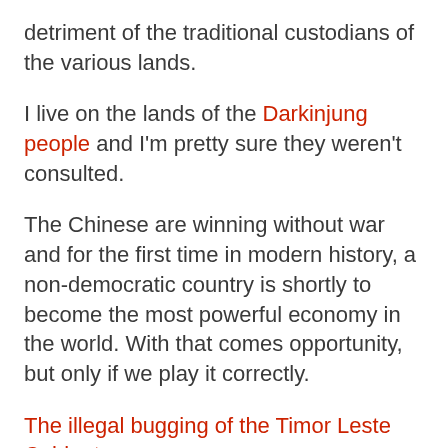detriment of the traditional custodians of the various lands.
I live on the lands of the Darkinjung people and I'm pretty sure they weren't consulted.
The Chinese are winning without war and for the first time in modern history, a non-democratic country is shortly to become the most powerful economy in the world. With that comes opportunity, but only if we play it correctly.
The illegal bugging of the Timor Leste Cabinet